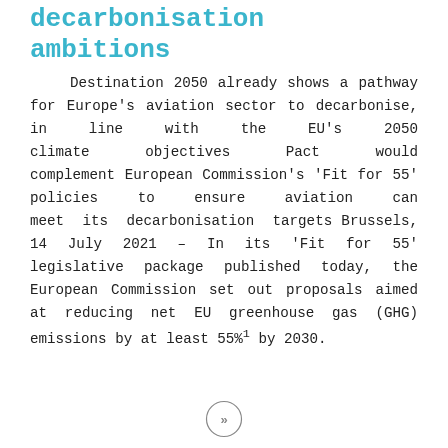decarbonisation ambitions
Destination 2050 already shows a pathway for Europe’s aviation sector to decarbonise, in line with the EU’s 2050 climate objectives Pact would complement European Commission’s ‘Fit for 55’ policies to ensure aviation can meet its decarbonisation targets Brussels, 14 July 2021 – In its ‘Fit for 55’ legislative package published today, the European Commission set out proposals aimed at reducing net EU greenhouse gas (GHG) emissions by at least 55%1 by 2030.
[Figure (illustration): A circle with a right-pointing double chevron arrow (>>) inside, acting as a navigation button.]